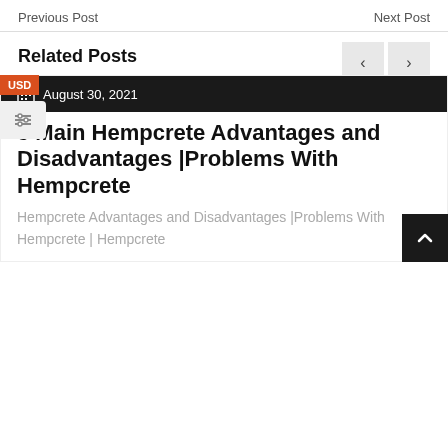Previous Post    Next Post
Related Posts
August 30, 2021
3 Main Hempcrete Advantages and Disadvantages |Problems With Hempcrete
Hempcrete Advantages and Disadvantages |Problems With Hempcrete | Hempcrete